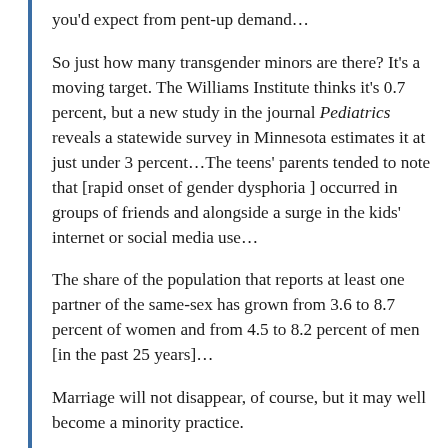you'd expect from pent-up demand…
So just how many transgender minors are there? It's a moving target. The Williams Institute thinks it's 0.7 percent, but a new study in the journal Pediatrics reveals a statewide survey in Minnesota estimates it at just under 3 percent…The teens' parents tended to note that [rapid onset of gender dysphoria ] occurred in groups of friends and alongside a surge in the kids' internet or social media use…
The share of the population that reports at least one partner of the same-sex has grown from 3.6 to 8.7 percent of women and from 4.5 to 8.2 percent of men [in the past 25 years]…
Marriage will not disappear, of course, but it may well become a minority practice.